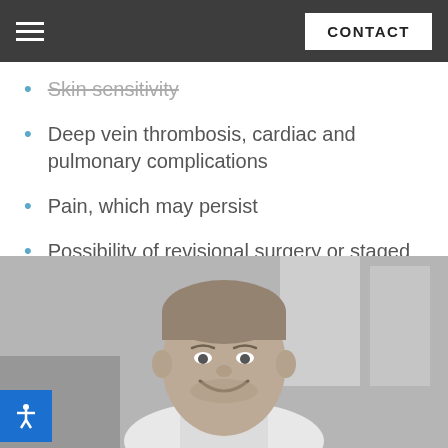CONTACT
Skin sensitivity
Deep vein thrombosis, cardiac and pulmonary complications
Pain, which may persist
Possibility of revisional surgery or staged procedures
[Figure (photo): Black and white headshot of a smiling male doctor in a white coat, in a clinical office setting]